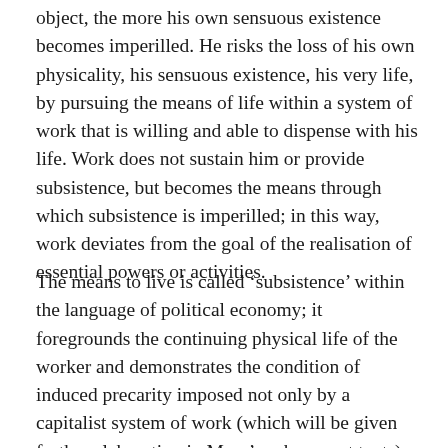object, the more his own sensuous existence becomes imperilled. He risks the loss of his own physicality, his sensuous existence, his very life, by pursuing the means of life within a system of work that is willing and able to dispense with his life. Work does not sustain him or provide subsistence, but becomes the means through which subsistence is imperilled; in this way, work deviates from the goal of the realisation of essential powers or activities.
The means to live is called ‘subsistence’ within the language of political economy; it foregrounds the continuing physical life of the worker and demonstrates the condition of induced precarity imposed not only by a capitalist system of work (which will be given further elaboration in Marx’s subsequent texts), but by conditions in which work is